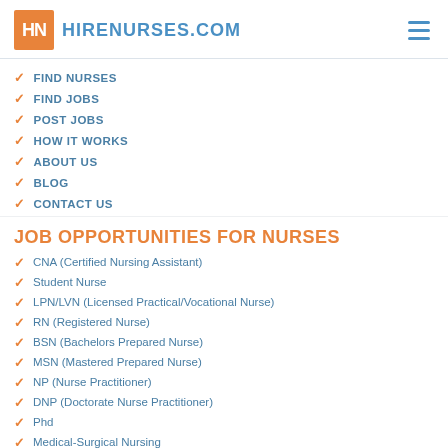HireNurses.com
FIND NURSES
FIND JOBS
POST JOBS
HOW IT WORKS
ABOUT US
BLOG
CONTACT US
JOB OPPORTUNITIES FOR NURSES
CNA (Certified Nursing Assistant)
Student Nurse
LPN/LVN (Licensed Practical/Vocational Nurse)
RN (Registered Nurse)
BSN (Bachelors Prepared Nurse)
MSN (Mastered Prepared Nurse)
NP (Nurse Practitioner)
DNP (Doctorate Nurse Practitioner)
Phd
Medical-Surgical Nursing
Pediatric Nursing